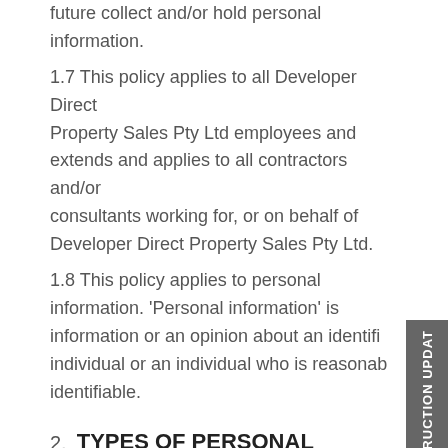future collect and/or hold personal information. 1.7 This policy applies to all Developer Direct Property Sales Pty Ltd employees and extends and applies to all contractors and/or consultants working for, or on behalf of Developer Direct Property Sales Pty Ltd. 1.8 This policy applies to personal information. 'Personal information' is information or an opinion about an identifiable individual or an individual who is reasonably identifiable.
2. TYPES OF PERSONAL INFORMATION WE COLLECT AND HOLD
2.1 The personal information we collect and